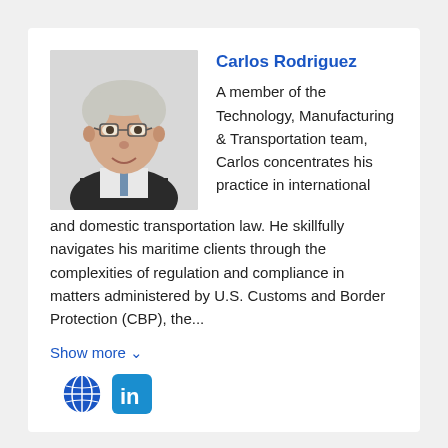[Figure (photo): Headshot of Carlos Rodriguez, an older man with white/grey hair and glasses, wearing a dark suit with a patterned tie, smiling.]
Carlos Rodriguez
A member of the Technology, Manufacturing & Transportation team, Carlos concentrates his practice in international and domestic transportation law. He skillfully navigates his maritime clients through the complexities of regulation and compliance in matters administered by U.S. Customs and Border Protection (CBP), the...
Show more ∨
[Figure (other): Globe icon (world website link) and LinkedIn icon]
[Figure (logo): LinkedIn logo icon, blue square with 'in']